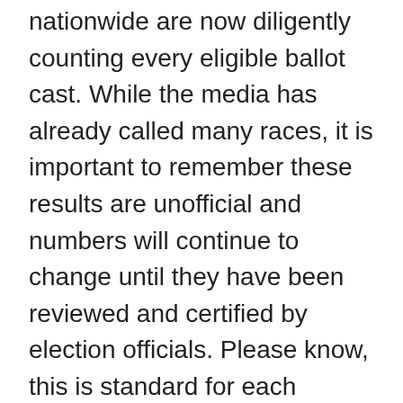nationwide are now diligently counting every eligible ballot cast. While the media has already called many races, it is important to remember these results are unofficial and numbers will continue to change until they have been reviewed and certified by election officials. Please know, this is standard for each election.
If you have questions about post-election processes, always turn to your state and local election officials as the trusted sources of accurate information. By doing so, you can avoid falling victim to misinformation from unverified sources. You can find links to state election offices on NASS's nonpartisan website canivote.org."